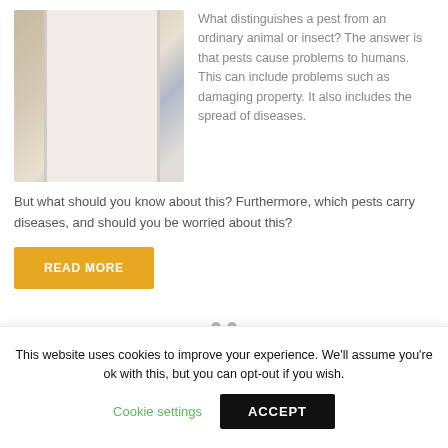[Figure (photo): Close-up photo of a person in a white doctor's coat with a stethoscope and pens in the pocket]
What distinguishes a pest from an ordinary animal or insect? The answer is that pests cause problems to humans. This can include problems such as damaging property. It also includes the spread of diseases.
But what should you know about this? Furthermore, which pests carry diseases, and should you be worried about this?
READ MORE
This website uses cookies to improve your experience. We'll assume you're ok with this, but you can opt-out if you wish.
Cookie settings
ACCEPT